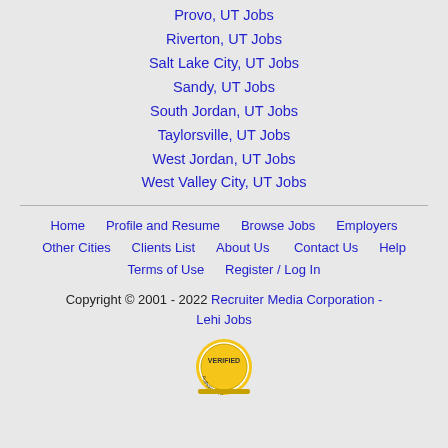Provo, UT Jobs
Riverton, UT Jobs
Salt Lake City, UT Jobs
Sandy, UT Jobs
South Jordan, UT Jobs
Taylorsville, UT Jobs
West Jordan, UT Jobs
West Valley City, UT Jobs
Home   Profile and Resume   Browse Jobs   Employers   Other Cities   Clients List   About Us   Contact Us   Help   Terms of Use   Register / Log In
Copyright © 2001 - 2022 Recruiter Media Corporation - Lehi Jobs
[Figure (logo): Authorize.Net Verified badge/seal logo]